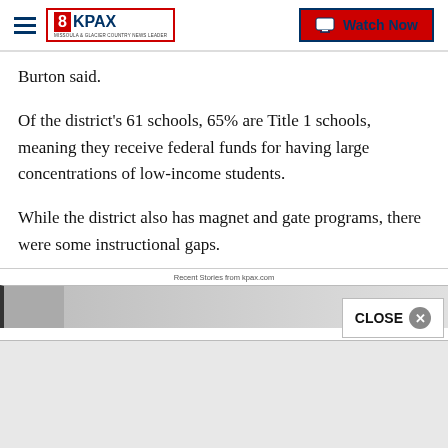8KPAX | Watch Now
Burton said.
Of the district's 61 schools, 65% are Title 1 schools, meaning they receive federal funds for having large concentrations of low-income students.
While the district also has magnet and gate programs, there were some instructional gaps.
Recent Stories from kpax.com
[Figure (screenshot): Thumbnail image strip at bottom of article page]
CLOSE